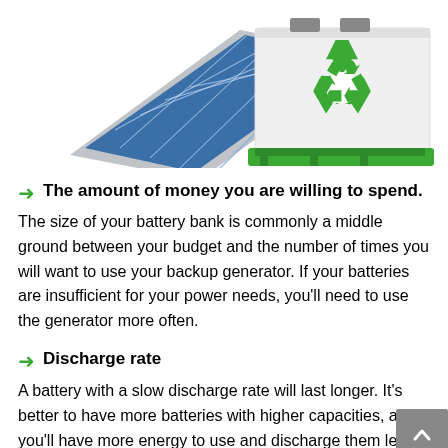[Figure (illustration): Solar panel leaning against a white battery/storage box with green recycling symbol, sitting on a green pallet]
The amount of money you are willing to spend.
The size of your battery bank is commonly a middle ground between your budget and the number of times you will want to use your backup generator. If your batteries are insufficient for your power needs, you'll need to use the generator more often.
Discharge rate
A battery with a slow discharge rate will last longer. It's better to have more batteries with higher capacities, as you'll have more energy to use and discharge them less.